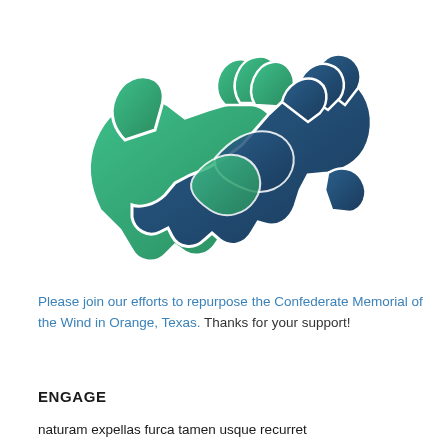[Figure (illustration): Icon of two hands shaking — one green and one dark blue — representing partnership or collaboration.]
Please join our efforts to repurpose the Confederate Memorial of the Wind in Orange, Texas. Thanks for your support!
ENGAGE
naturam expellas furca tamen usque recurret